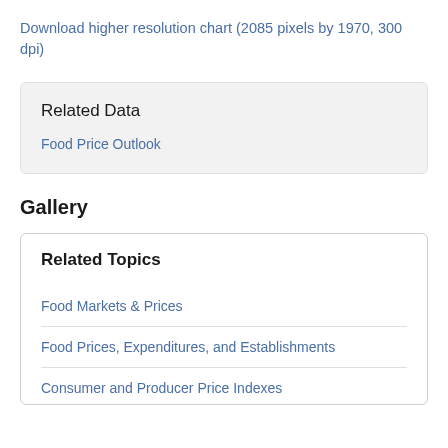Download higher resolution chart (2085 pixels by 1970, 300 dpi)
Related Data
Food Price Outlook
Gallery
Related Topics
Food Markets & Prices
Food Prices, Expenditures, and Establishments
Consumer and Producer Price Indexes